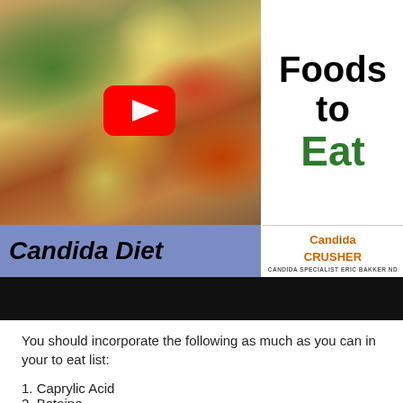[Figure (screenshot): Video thumbnail showing a Candida Diet Foods to Eat video with food photo on left, title text on right, blue bar with 'Candida Diet' text, Candida Crusher logo, and a black progress bar at bottom]
You should incorporate the following as much as you can in your to eat list:
1. Caprylic Acid
2. Betaine
3. Flavonoids (Grapefruit Seed Extract)
4. Black Walnut Hull Extract